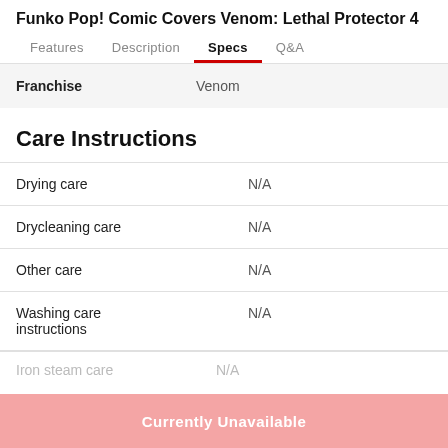Funko Pop! Comic Covers Venom: Lethal Protector 4
Features   Description   Specs   Q&A
|  |  |
| --- | --- |
| Franchise | Venom |
Care Instructions
|  |  |
| --- | --- |
| Drying care | N/A |
| Drycleaning care | N/A |
| Other care | N/A |
| Washing care instructions | N/A |
| Iron steam care | N/A |
Currently Unavailable